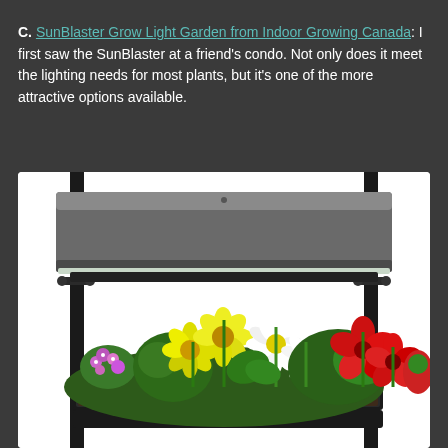C. SunBlaster Grow Light Garden from Indoor Growing Canada: I first saw the SunBlaster at a friend's condo. Not only does it meet the lighting needs for most plants, but it's one of the more attractive options available.
[Figure (photo): A SunBlaster Grow Light Garden showing a rectangular grow light fixture mounted on adjustable black metal poles above a planter tray filled with colorful flowering plants including yellow, white, pink, and red flowers against a white background.]